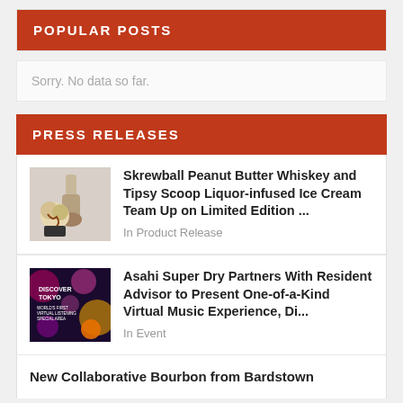POPULAR POSTS
Sorry. No data so far.
PRESS RELEASES
[Figure (photo): Skrewball Peanut Butter Whiskey bottle with ice cream dessert]
Skrewball Peanut Butter Whiskey and Tipsy Scoop Liquor-infused Ice Cream Team Up on Limited Edition ...
In Product Release
[Figure (photo): Discover Tokyo promotional image with colorful bokeh lights]
Asahi Super Dry Partners With Resident Advisor to Present One-of-a-Kind Virtual Music Experience, Di...
In Event
New Collaborative Bourbon from Bardstown